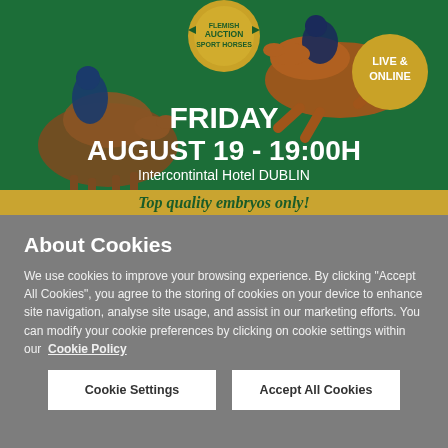[Figure (illustration): Horse auction promotional banner on green background showing equestrian riders on horses, a circular gold logo reading 'AUCTION', a gold circle badge saying 'LIVE & ONLINE', bold white text 'FRIDAY AUGUST 19 - 19:00H Intercontintal Hotel DUBLIN', and a gold strip at bottom with italic text 'Top quality embryos only!']
About Cookies
We use cookies to improve your browsing experience. By clicking "Accept All Cookies", you agree to the storing of cookies on your device to enhance site navigation, analyse site usage, and assist in our marketing efforts. You can modify your cookie preferences by clicking on cookie settings within our  Cookie Policy